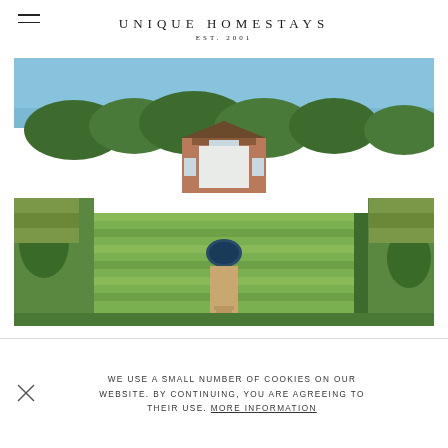UNIQUE HOMESTAYS
EST. 2001
[Figure (photo): Aerial view of a country house with formal gardens, striped lawn, circular fountain pond, and surrounding trees and countryside]
WE USE A SMALL NUMBER OF COOKIES ON OUR WEBSITE. BY CONTINUING, YOU ARE AGREEING TO THEIR USE. MORE INFORMATION